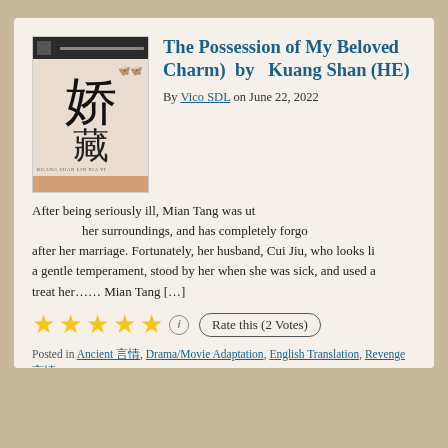[Figure (illustration): Book cover with Chinese characters 娇 and 藏, dark top bar with QR code, orange/butterfly decorative elements]
The Possession of My Beloved (Charm) by Kuang Shan (HE)
By Vico SDL on June 22, 2022
After being seriously ill, Mian Tang was utterly unaware of her surroundings, and has completely forgot after her marriage. Fortunately, her husband, Cui Jiu, who looks li a gentle temperament, stood by her when she was sick, and used a treat her…… Mian Tang […]
★★★★★ (i) Rate this (2 Votes)
Posted in Ancient 言情, Drama/Movie Adaptation, English Translation, Revenge 言情 | Leave a response